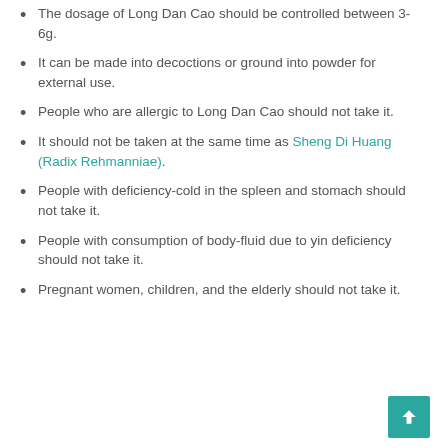The dosage of Long Dan Cao should be controlled between 3-6g.
It can be made into decoctions or ground into powder for external use.
People who are allergic to Long Dan Cao should not take it.
It should not be taken at the same time as Sheng Di Huang (Radix Rehmanniae).
People with deficiency-cold in the spleen and stomach should not take it.
People with consumption of body-fluid due to yin deficiency should not take it.
Pregnant women, children, and the elderly should not take it.